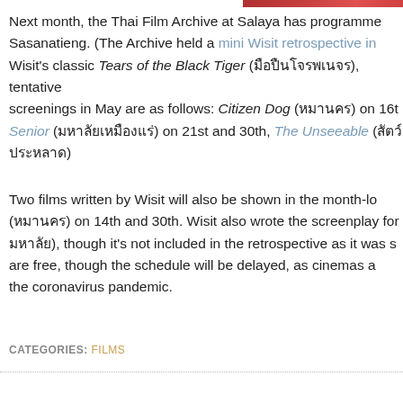[Figure (photo): Partial image strip visible at top right of page]
Next month, the Thai Film Archive at Salaya has programmed Sasanatieng. (The Archive held a mini Wisit retrospective in Wisit's classic Tears of the Black Tiger (มือปืน/โจรพเนจร), tentatively screenings in May are as follows: Citizen Dog (หมานคร) on 16th Senior (มหา'ลัยเหมืองแร่) on 21st and 30th, The Unseeable (สัตว์ประหลาด)
Two films written by Wisit will also be shown in the month-long (หมานคร) on 14th and 30th. Wisit also wrote the screenplay for มหา'ลัยเหมืองแร่), though it's not included in the retrospective as it was s are free, though the schedule will be delayed, as cinemas a the coronavirus pandemic.
CATEGORIES: FILMS